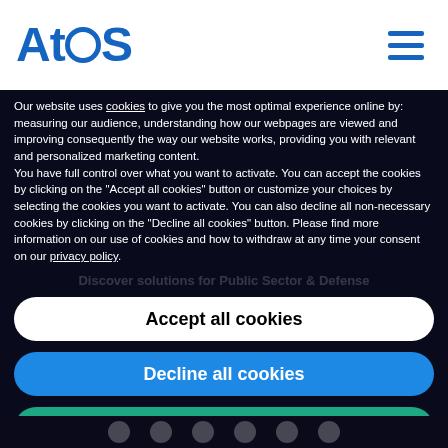[Figure (logo): Atos company logo in blue with stylized letter O]
Our website uses cookies to give you the most optimal experience online by: measuring our audience, understanding how our webpages are viewed and improving consequently the way our website works, providing you with relevant and personalized marketing content.
You have full control over what you want to activate. You can accept the cookies by clicking on the "Accept all cookies" button or customize your choices by selecting the cookies you want to activate. You can also decline all non-necessary cookies by clicking on the "Decline all cookies" button. Please find more information on our use of cookies and how to withdraw at any time your consent on our privacy policy.
Accept all cookies
Decline all cookies
Customize
Privacy policy